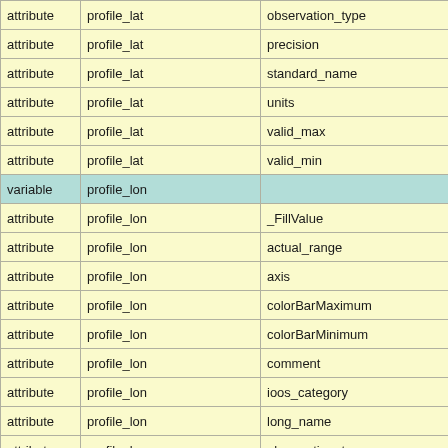|  |  |  |  |
| --- | --- | --- | --- |
| attribute | profile_lat | observation_type | S |
| attribute | profile_lat | precision | i |
| attribute | profile_lat | standard_name | S |
| attribute | profile_lat | units | S |
| attribute | profile_lat | valid_max | d |
| attribute | profile_lat | valid_min | d |
| variable | profile_lon |  | d |
| attribute | profile_lon | _FillValue | d |
| attribute | profile_lon | actual_range | d |
| attribute | profile_lon | axis | S |
| attribute | profile_lon | colorBarMaximum | d |
| attribute | profile_lon | colorBarMinimum | d |
| attribute | profile_lon | comment | S |
| attribute | profile_lon | ioos_category | S |
| attribute | profile_lon | long_name | S |
| attribute | profile_lon | observation_type | S |
| attribute | profile_lon | precision | i |
| attribute | profile_lon | standard_name | S |
| attribute | profile_lon | units | S |
| attribute | profile_lon | valid_max | d |